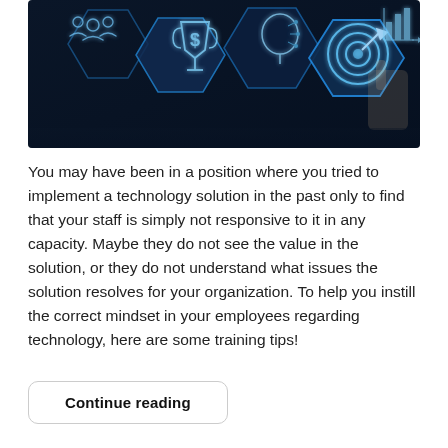[Figure (illustration): Dark blue technology-themed image showing glowing hexagonal icons including people/team icon, dollar trophy icon, a face with digital brain icon, and a target/goal icon, with a hand pointing at the target. Neon blue glowing honeycomb pattern background.]
You may have been in a position where you tried to implement a technology solution in the past only to find that your staff is simply not responsive to it in any capacity. Maybe they do not see the value in the solution, or they do not understand what issues the solution resolves for your organization. To help you instill the correct mindset in your employees regarding technology, here are some training tips!
Continue reading